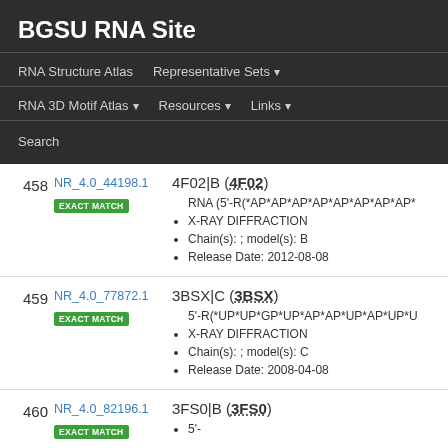BGSU RNA Site
RNA Structure Atlas | Representative Sets | RNA 3D Motif Atlas | Resources | Links | Search
| # | ID | Details |
| --- | --- | --- |
| 458 | NR_4.0_44198.1
EXACT MATCH | 4F02|B (4F02)
• RNA (5'-R(*AP*AP*AP*AP*AP*AP*AP*AP*
• X-RAY DIFFRACTION
• Chain(s): ; model(s): B
• Release Date: 2012-08-08 |
| 459 | NR_4.0_77872.1
EXACT MATCH | 3BSX|C (3BSX)
• 5'-R(*UP*UP*GP*UP*AP*AP*UP*AP*UP*U
• X-RAY DIFFRACTION
• Chain(s): ; model(s): C
• Release Date: 2008-04-08 |
| 460 | NR_4.0_82196.1
EXACT MATCH | 3FS0|B (3FS0)
• 5'- |